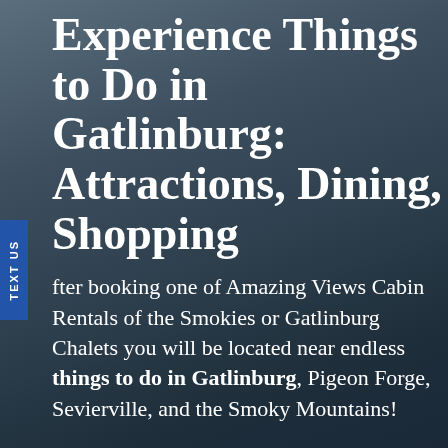Experience Things to Do in Gatlinburg: Attractions, Dining, Shopping
After booking one of Amazing Views Cabin Rentals of the Smokies or Gatlinburg Chalets you will be located near endless things to do in Gatlinburg, Pigeon Forge, Sevierville, and the Smoky Mountains!
Many of our Gatlinburg cabin rentals are conveniently located close by the popular Ober Gatlinburg Ski Resort. If you are looking for culture and history, you can check out the Great Smoky Mountain Arts and Crafts Community. Attractions like Ripley’s Aquarium of the Smokies, Dollywood, horseback riding, whitewater rafting, fishing, golfing, fine dining, music theaters, and more are just minutes away. And if you are looking